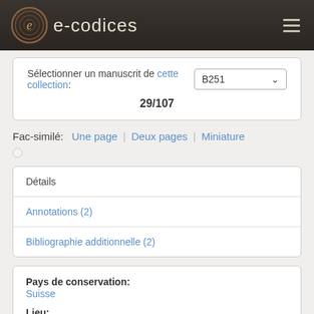e-codices
Sélectionner un manuscrit de cette collection: B251 — 29/107
Fac-similé: Une page | Deux pages | Miniature
Détails
Annotations (2)
Bibliographie additionnelle (2)
Pays de conservation:
Suisse

Lieu:
Zürich

Bibliothèque / Collection: